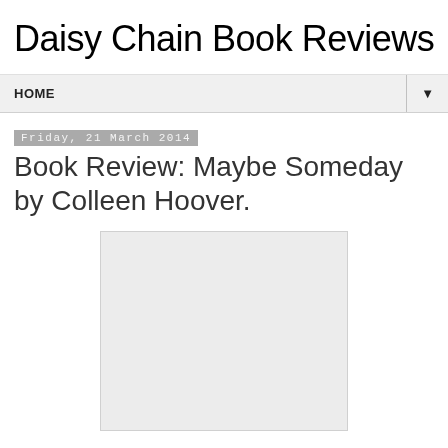Daisy Chain Book Reviews
HOME
Friday, 21 March 2014
Book Review: Maybe Someday by Colleen Hoover.
[Figure (photo): Book cover image placeholder — light gray rectangle]